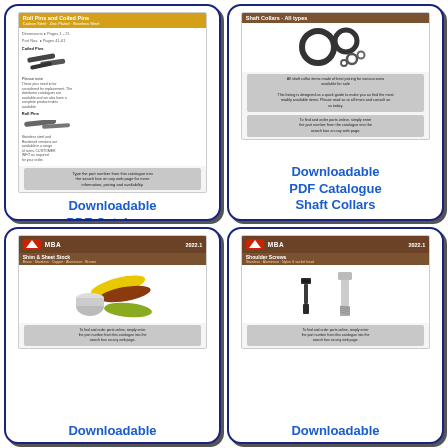[Figure (illustration): Thumbnail of Roll Pins and Coiled Pins PDF catalogue cover with yellow header, images of roll pins and coiled pins, and grey info box]
Downloadable PDF Catalogue Roll Pins
[Figure (illustration): Thumbnail of Shaft Collars PDF catalogue cover with brown header, images of shaft collars/rings, and grey info box]
Downloadable PDF Catalogue Shaft Collars
[Figure (illustration): Thumbnail of MBA 2022.1 Shim & Sheet Stock PDF catalogue cover with brown header, images of shim sheets in various colors, and grey info box]
Downloadable
[Figure (illustration): Thumbnail of MBA 2022.1 Shoulder Screws PDF catalogue cover with brown header, images of shoulder screws, and grey info box]
Downloadable